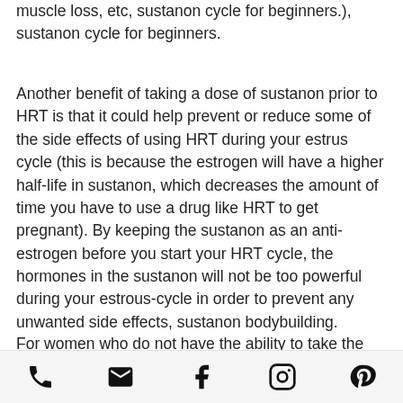muscle loss, etc, sustanon cycle for beginners.), sustanon cycle for beginners.
Another benefit of taking a dose of sustanon prior to HRT is that it could help prevent or reduce some of the side effects of using HRT during your estrus cycle (this is because the estrogen will have a higher half-life in sustanon, which decreases the amount of time you have to use a drug like HRT to get pregnant). By keeping the sustanon as an anti-estrogen before you start your HRT cycle, the hormones in the sustanon will not be too powerful during your estrous-cycle in order to prevent any unwanted side effects, sustanon bodybuilding.
For women who do not have the ability to take the four testosterones, use this study as
phone | email | facebook | instagram | pinterest